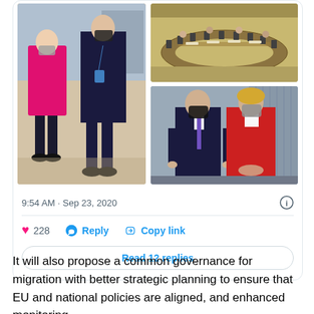[Figure (photo): Twitter/social media embedded card showing a photo collage of three images: left image shows two people in masks (woman in pink jacket, man in dark suit) standing and talking; top right shows a wide empty council chamber with round table; bottom right shows two people in masks posing together (man in dark suit with purple tie, woman in red jacket).]
9:54 AM · Sep 23, 2020
228   Reply   Copy link
Read 12 replies
It will also propose a common governance for migration with better strategic planning to ensure that EU and national policies are aligned, and enhanced monitoring